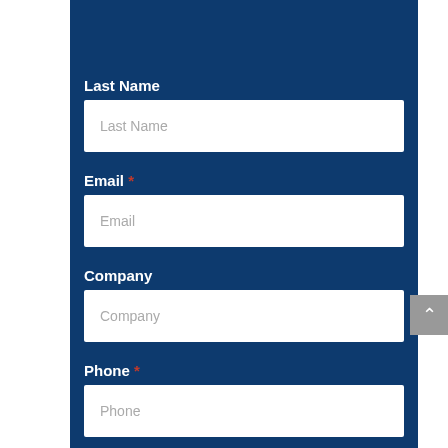First Name
Last Name
Last Name
Email *
Email
Company
Company
Phone *
Phone